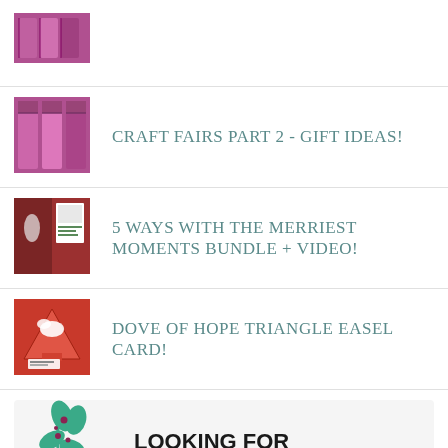[Figure (photo): Cropped top of a pink/purple craft item thumbnail]
CRAFT FAIRS PART 2 - GIFT IDEAS!
5 WAYS WITH THE MERRIEST MOMENTS BUNDLE + VIDEO!
DOVE OF HOPE TRIANGLE EASEL CARD!
[Figure (illustration): Decorative plant/flower illustration with teal and dark pink leaves]
LOOKING FOR SOMETHING?